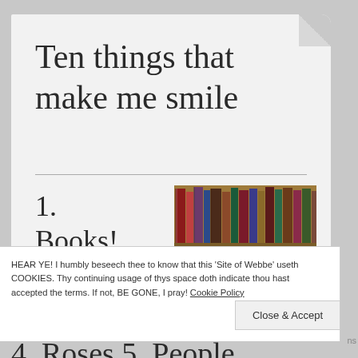Ten things that make me smile
1. Books!
2. My
[Figure (photo): A bookshelf filled with books of various sizes and colors, arranged in rows on wooden shelves.]
HEAR YE! I humbly beseech thee to know that this 'Site of Webbe' useth COOKIES. Thy continuing usage of thys space doth indicate thou hast accepted the terms. If not, BE GONE, I pray! Cookie Policy
Close & Accept
4. Roses 5. People